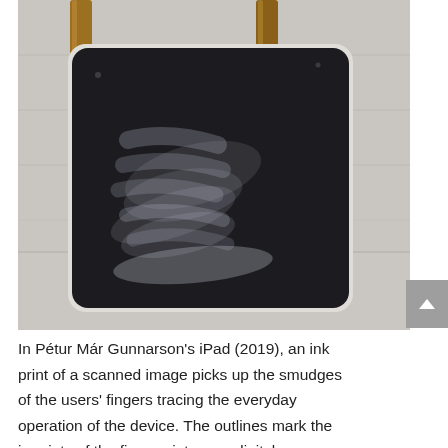[Figure (photo): Photograph of a dark/black iPad with visible fingerprint smudges and ink print marks on its screen, leaning against a concrete or plaster wall with wooden chair legs visible at the top. The iPad is resting on a light-colored surface.]
In Pétur Már Gunnarson's iPad (2019), an ink print of a scanned image picks up the smudges of the users' fingers tracing the everyday operation of the device. The outlines mark the imprints of the fingerprints on a digital